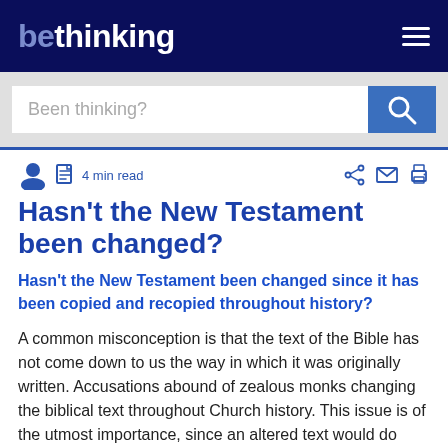bethinking
Been thinking?
4 min read
Hasn't the New Testament been changed?
Hasn't the New Testament been changed since it has been copied and recopied throughout history?
A common misconception is that the text of the Bible has not come down to us the way in which it was originally written. Accusations abound of zealous monks changing the biblical text throughout Church history. This issue is of the utmost importance, since an altered text would do grave damage to the